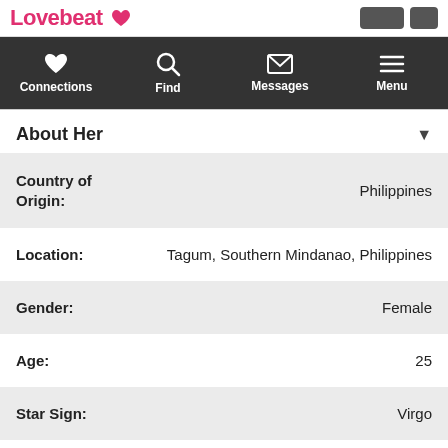Lovebeat
Connections | Find | Messages | Menu
About Her
| Field | Value |
| --- | --- |
| Country of Origin: | Philippines |
| Location: | Tagum, Southern Mindanao, Philippines |
| Gender: | Female |
| Age: | 25 |
| Star Sign: | Virgo |
| Height: | Ask me later |